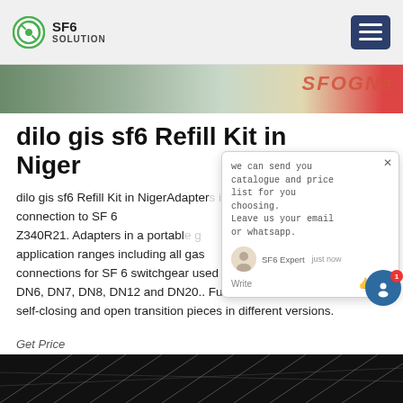SF6 SOLUTION
[Figure (photo): Top banner image showing outdoor materials/equipment with red logo overlay]
dilo gis sf6 Refill Kit in Niger
dilo gis sf6 Refill Kit in NigerAdapters in a portable bl plastic case For connection to SF 6 Z340R21. Adapters in a portable g application ranges including all gas connections for SF 6 switchgear used all over the world such us DN6, DN7, DN8, DN12 and DN20.. Furthermore, this kit includes self-closing and open transition pieces in different versions.
Get Price
[Figure (photo): Bottom image showing dark structural metal framework/lattice]
[Figure (screenshot): Chat popup: 'we can send you catalogue and price list for you choosing. Leave us your email or whatsapp.' with SF6 Expert avatar and Write/send buttons]